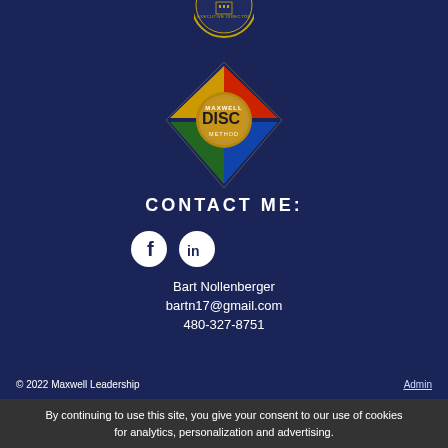[Figure (logo): Circular badge/seal at the top, partially visible, dark blue background with gold text reading EXECUTIVE DIRECTOR]
[Figure (logo): Maxwell DISC Method diamond-shaped logo with colored quadrants (red, blue, green, yellow) and a circular gold emblem in the center]
CONTACT ME:
[Figure (logo): Facebook circular icon (white F on white circle)]
[Figure (logo): LinkedIn circular icon (white 'in' on white circle)]
Bart Nollenberger
bartn17@gmail.com
480-327-8751
© 2022 Maxwell Leadership
Admin
Certified Team
By continuing to use this site, you give your consent to our use of cookies for analytics, personalization and advertising.